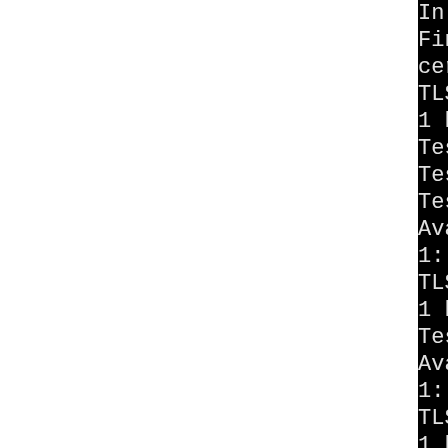[Figure (screenshot): Terminal/console output showing SSL/TLS testing log with cipher suite testing lines on black background. Left portion is white (cropped). Visible text includes lines about app_verify_callback, cert depth, TLSv1.2 cipher, handshakes, Testing ciphersuites, AES256-GCM-SHA384, zlib compression, AES256-SHA256, AES128-GCM-SHA256, AES128-SHA256.]